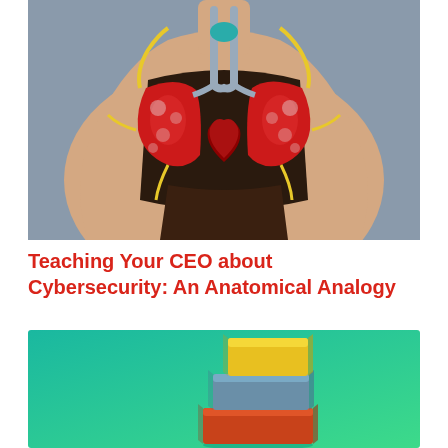[Figure (photo): Anatomical human torso model showing internal organs including lungs (red), heart, and other structures with yellow nerve/vessel details against a gray background]
Teaching Your CEO about Cybersecurity: An Anatomical Analogy
[Figure (photo): Three stacked colored wooden blocks (yellow on top, blue/gray in middle, red-orange on bottom) arranged in ascending staircase pattern against a teal/green gradient background]